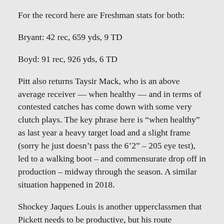For the record here are Freshman stats for both:
Bryant: 42 rec, 659 yds, 9 TD
Boyd: 91 rec, 926 yds, 6 TD
Pitt also returns Taysir Mack, who is an above average receiver — when healthy — and in terms of contested catches has come down with some very clutch plays. The key phrase here is “when healthy” as last year a heavy target load and a slight frame (sorry he just doesn’t pass the 6’2” – 205 eye test), led to a walking boot – and commensurate drop off in production – midway through the season. A similar situation happened in 2018.
Shockey Jaques Louis is another upperclassmen that Pickett needs to be productive, but his route